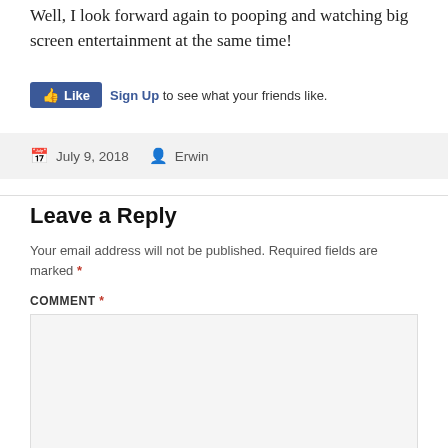Well, I look forward again to pooping and watching big screen entertainment at the same time!
[Figure (other): Facebook Like button and Sign Up link with text 'Sign Up to see what your friends like.']
July 9, 2018  Erwin
Leave a Reply
Your email address will not be published. Required fields are marked *
COMMENT *
[Figure (other): Empty comment text area input box]